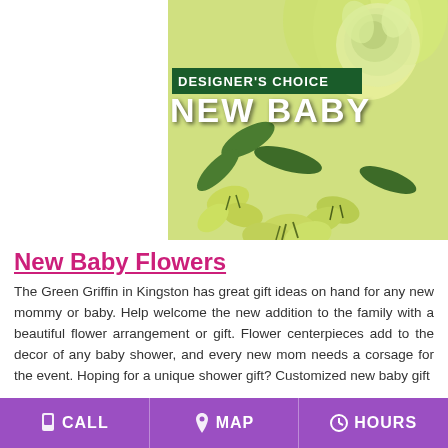[Figure (photo): Photo of yellow-green alstroemeria/carnation flower arrangement with text overlay: 'DESIGNER'S CHOICE' in dark green banner and 'NEW BABY' in large white bold text]
New Baby Flowers
The Green Griffin in Kingston has great gift ideas on hand for any new mommy or baby. Help welcome the new addition to the family with a beautiful flower arrangement or gift. Flower centerpieces add to the decor of any baby shower, and every new mom needs a corsage for the event. Hoping for a unique shower gift? Customized new baby gift
CALL  MAP  HOURS